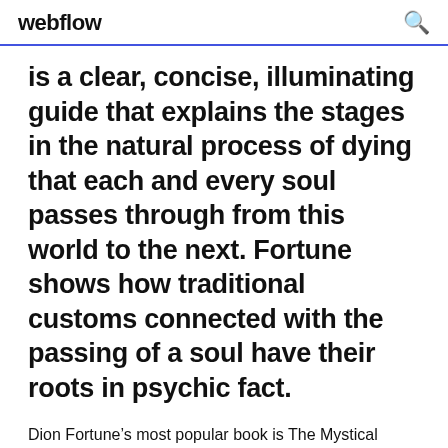webflow
is a clear, concise, illuminating guide that explains the stages in the natural process of dying that each and every soul passes through from this world to the next. Fortune shows how traditional customs connected with the passing of a soul have their roots in psychic fact.
Dion Fortune’s most popular book is The Mystical Qabalah. Dion Fortune has 49 books on Goodreads with 20839 ratings. Dion Fortune’s most popular book is The Mystical Qabalah